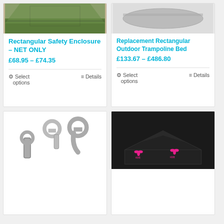[Figure (photo): Partial top image of rectangular trampoline safety enclosure outdoors on grass]
Rectangular Safety Enclosure – NET ONLY
£68.95 – £74.35
Select options
Details
[Figure (photo): Replacement Rectangular Outdoor Trampoline Bed product image placeholder]
Replacement Rectangular Outdoor Trampoline Bed
£133.67 – £486.80
Select options
Details
[Figure (photo): Metal spring clips / hooks for trampoline assembly, silver galvanized metal]
[Figure (photo): Black Butterfly branded table tennis table cover, folded, with pink butterfly logo]